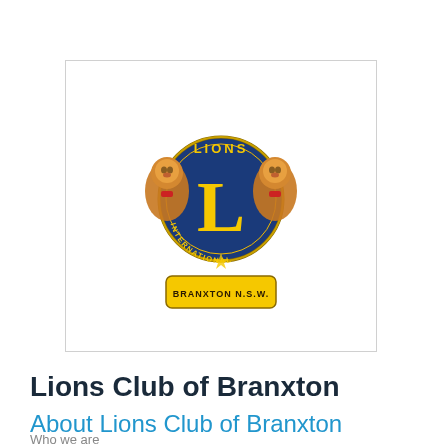[Figure (logo): Lions Club International logo with two lions flanking a central blue circle with a yellow 'L', the word 'LIONS' at top, 'INTERNATIONAL' around the circle, and a yellow banner at bottom reading 'BRANXTON N.S.W.']
Lions Club of Branxton
About Lions Club of Branxton
Who we are